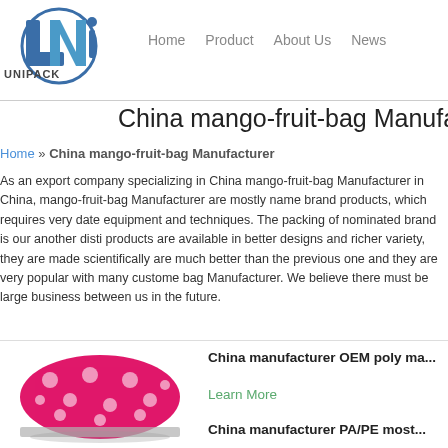Home  Product  About Us  News
China mango-fruit-bag Manufacturer
Home » China mango-fruit-bag Manufacturer
As an export company specializing in China mango-fruit-bag Manufacturer in China, mango-fruit-bag Manufacturer are mostly name brand products, which requires very date equipment and techniques. The packing of nominated brand is our another disti products are available in better designs and richer variety, they are made scientifically are much better than the previous one and they are very popular with many custome bag Manufacturer. We believe there must be large business between us in the future.
[Figure (photo): Pink floral patterned poly mailer bag lying flat]
China manufacturer OEM poly ma...
Learn More
China manufacturer PA/PE most...